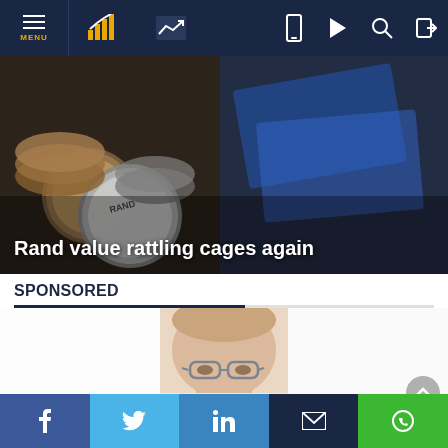MENU / Navigation bar with icons
[Figure (photo): Close-up photo of South African Rand coins and banknotes (blue currency notes in background), with one prominent silver coin showing 'RAND' text. Dark, moody financial imagery.]
Rand value rattling cages again
SPONSORED
[Figure (photo): Portrait photo of a man with glasses, close-cropped hair, wearing a suit. Head and shoulders shot, blurred/partial view.]